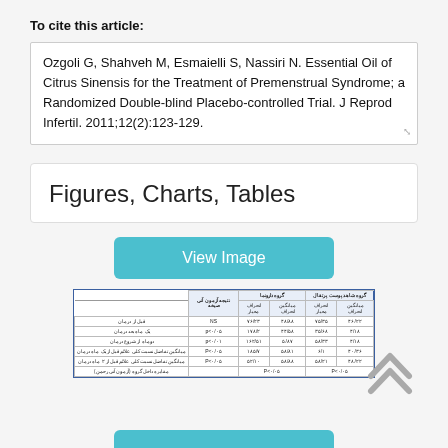To cite this article:
Ozgoli G, Shahveh M, Esmaielli S, Nassiri N. Essential Oil of Citrus Sinensis for the Treatment of Premenstrual Syndrome; a Randomized Double-blind Placebo-controlled Trial. J Reprod Infertil. 2011;12(2):123-129.
Figures, Charts, Tables
[Figure (other): View Image button (cyan/teal) above a small preview of a data table in Persian/Farsi with blue border, showing treatment data with columns for standard deviation and mean values for two groups. An upward double-chevron arrow icon is visible to the right.]